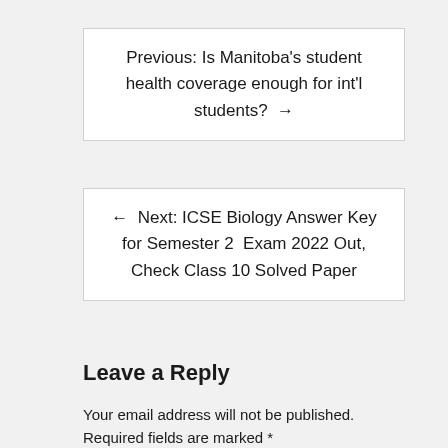Previous: Is Manitoba's student health coverage enough for int'l students? →
← Next: ICSE Biology Answer Key for Semester 2 Exam 2022 Out, Check Class 10 Solved Paper
Leave a Reply
Your email address will not be published. Required fields are marked *
Comment *